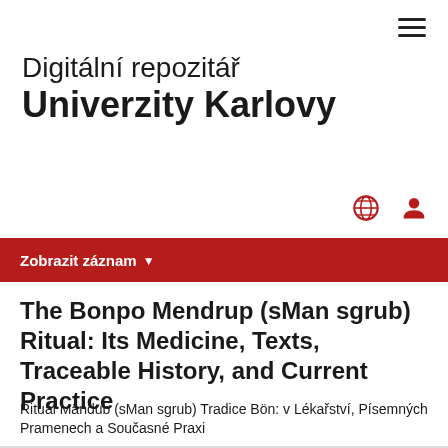≡
Digitální repozitář Univerzity Karlovy
Zobrazit záznam ▾
The Bonpo Mendrup (sMan sgrub) Ritual: Its Medicine, Texts, Traceable History, and Current Practice
Rituál Mändub (sMan sgrub) Tradice Bön: v Lékařství, Písemných Pramenech a Současné Praxi